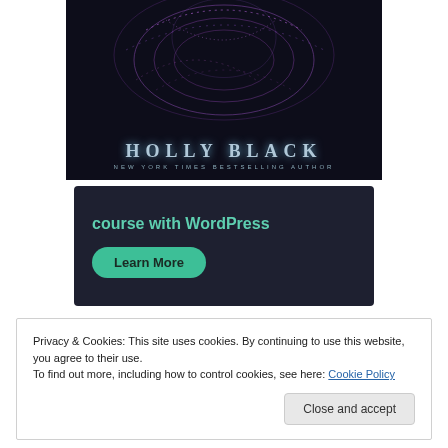[Figure (illustration): Book cover showing Holly Black as New York Times Bestselling Author, with dark background, purple swirl/ornamental designs, and author name in large spaced letters]
[Figure (screenshot): Dark advertisement banner reading 'course with WordPress' with a teal 'Learn More' button]
Privacy & Cookies: This site uses cookies. By continuing to use this website, you agree to their use.
To find out more, including how to control cookies, see here: Cookie Policy
Close and accept